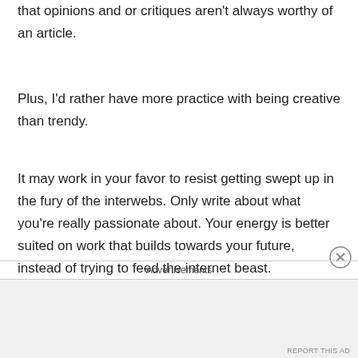that opinions and or critiques aren't always worthy of an article.
Plus, I'd rather have more practice with being creative than trendy.
It may work in your favor to resist getting swept up in the fury of the interwebs. Only write about what you're really passionate about. Your energy is better suited on work that builds towards your future, instead of trying to feed the internet beast.
Be...
Advertisements
REPORT THIS AD